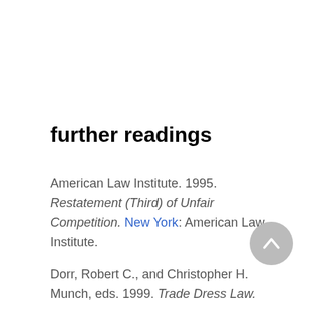further readings
American Law Institute. 1995. Restatement (Third) of Unfair Competition. New York: American Law Institute.
Dorr, Robert C., and Christopher H. Munch, eds. 1999. Trade Dress Law.